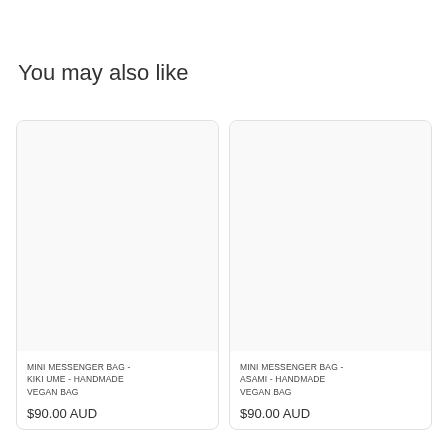You may also like
[Figure (photo): Product card image placeholder for MINI MESSENGER BAG - KIKI UME - HANDMADE VEGAN BAG, empty white image area]
MINI MESSENGER BAG - KIKI UME - HANDMADE VEGAN BAG
$90.00 AUD
[Figure (photo): Product card image placeholder for MINI MESSENGER BAG - ASAMI - HANDMADE VEGAN BAG, empty white image area]
MINI MESSENGER BAG - ASAMI - HANDMADE VEGAN BAG
$90.00 AUD